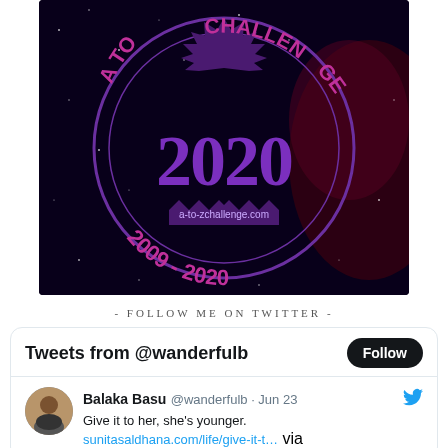[Figure (logo): A-to-Z Challenge 2020 badge with purple circular design on dark starry background showing '2020' in large purple text, '2009-2020' around the bottom, 'A TO Z CHALLENGE' around the top, and 'a-to-zchallenge.com' in the center]
- FOLLOW ME ON TWITTER -
Tweets from @wanderfulb
Balaka Basu @wanderfulb · Jun 23
Give it to her, she's younger.
sunitasaldhana.com/life/give-it-t… via